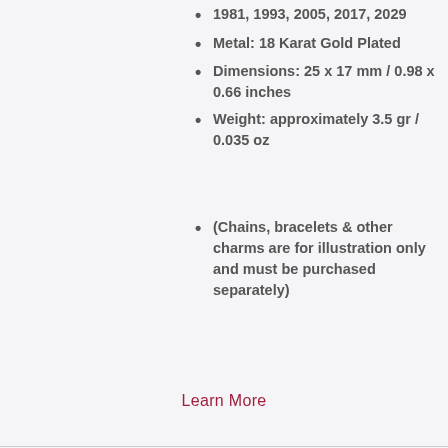1981, 1993, 2005, 2017, 2029
Metal: 18 Karat Gold Plated
Dimensions: 25 x 17 mm / 0.98 x 0.66 inches
Weight: approximately 3.5 gr / 0.035 oz
(Chains, bracelets & other charms are for illustration only and must be purchased separately)
Learn More